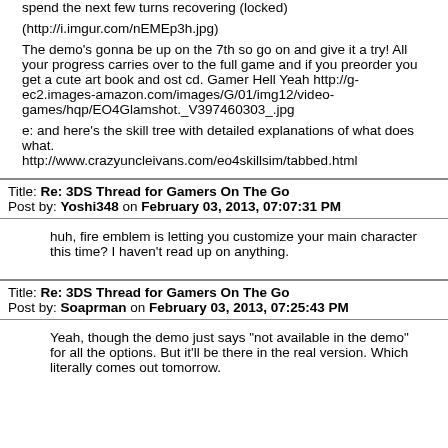spend the next few turns recovering (locked)
(http://i.imgur.com/nEMEp3h.jpg)
The demo's gonna be up on the 7th so go on and give it a try! All your progress carries over to the full game and if you preorder you get a cute art book and ost cd. Gamer Hell Yeah http://g-ec2.images-amazon.com/images/G/01/img12/video-games/hqp/EO4Glamshot._V397460303_.jpg
e: and here's the skill tree with detailed explanations of what does what.
http://www.crazyuncleivans.com/eo4skillsim/tabbed.html
Title: Re: 3DS Thread for Gamers On The Go
Post by: Yoshi348 on February 03, 2013, 07:07:31 PM
huh, fire emblem is letting you customize your main character this time? I haven't read up on anything.
Title: Re: 3DS Thread for Gamers On The Go
Post by: Soaprman on February 03, 2013, 07:25:43 PM
Yeah, though the demo just says "not available in the demo" for all the options. But it'll be there in the real version. Which literally comes out tomorrow.